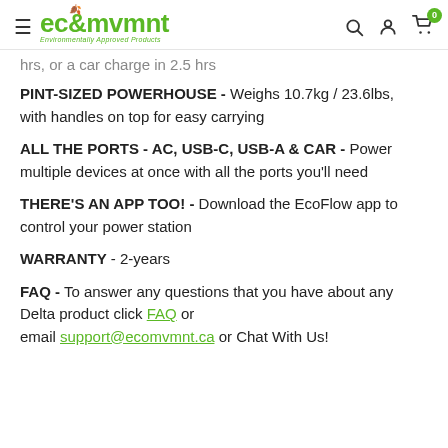ecomvmnt — Environmentally Approved Products (header with search, account, cart icons)
hrs, or a car charge in 2.5 hrs
PINT-SIZED POWERHOUSE - Weighs 10.7kg / 23.6lbs, with handles on top for easy carrying
ALL THE PORTS - AC, USB-C, USB-A & CAR - Power multiple devices at once with all the ports you'll need
THERE'S AN APP TOO! - Download the EcoFlow app to control your power station
WARRANTY - 2-years
FAQ - To answer any questions that you have about any Delta product click FAQ or email support@ecomvmnt.ca or Chat With Us!